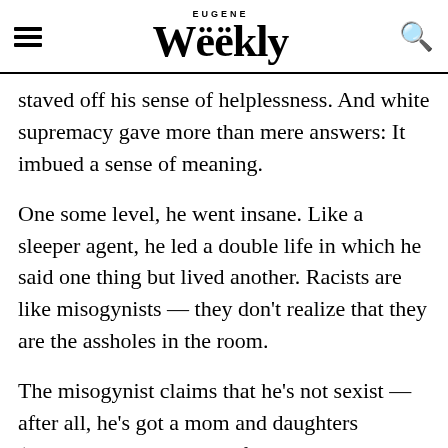Eugene Weekly
staved off his sense of helplessness. And white supremacy gave more than mere answers: It imbued a sense of meaning.
One some level, he went insane. Like a sleeper agent, he led a double life in which he said one thing but lived another. Racists are like misogynists — they don't realize that they are the assholes in the room.
The misogynist claims that he's not sexist — after all, he's got a mom and daughters (strangely, wives and girlfriends are never rounded up as references against sexism). With